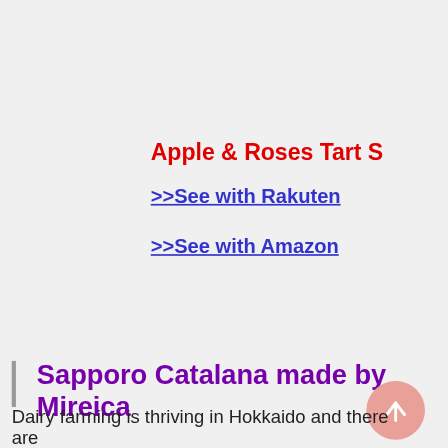Apple & Roses Tart S
>>See with Rakuten
>>See with Amazon
Sapporo Catalana made by Mireica
Dairy farming is thriving in Hokkaido and there are